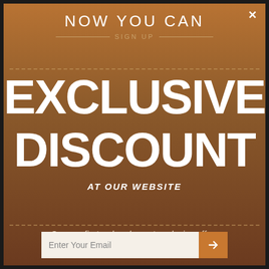×
NOW YOU CAN
SIGN UP
EXCLUSIVE DISCOUNT
AT OUR WEBSITE
On your first order plus get exclusive offers
Enter Your Email →